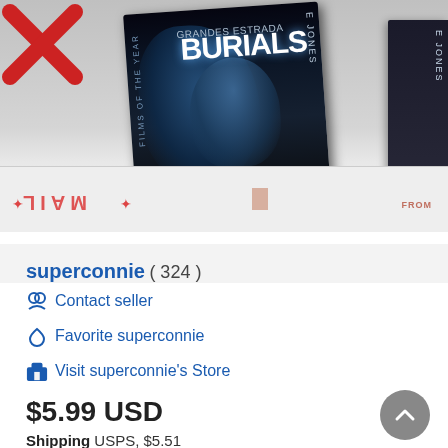[Figure (photo): Photo showing a DVD case for 'The Burials' (Grandes Estrada) with movie cover art featuring two figures in blue-toned cinematic style, placed on what appears to be a mail envelope with red MAIL text visible mirrored at the bottom. A red X mark is visible in the top left corner.]
superconnie ( 324 )
Contact seller
Favorite superconnie
Visit superconnie's Store
$5.99 USD
Shipping USPS, $5.51